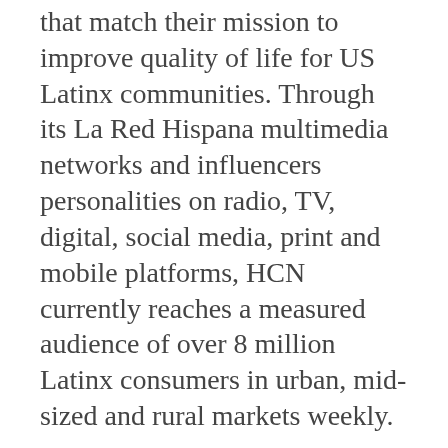that match their mission to improve quality of life for US Latinx communities. Through its La Red Hispana multimedia networks and influencers personalities on radio, TV, digital, social media, print and mobile platforms, HCN currently reaches a measured audience of over 8 million Latinx consumers in urban, mid-sized and rural markets weekly.
For more information: mercy.padilla@hcnmedia.com